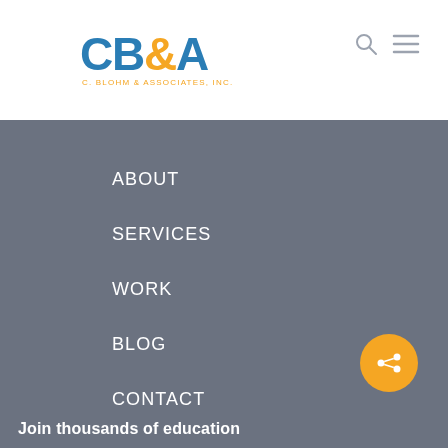[Figure (logo): CB&A C. Blohm & Associates, Inc. logo with blue text and orange ampersand]
[Figure (infographic): Search icon (magnifying glass) and hamburger menu icon in grey]
ABOUT
SERVICES
WORK
BLOG
CONTACT
CAREERS
[Figure (infographic): Orange circular share/social button with share icon]
Join thousands of education